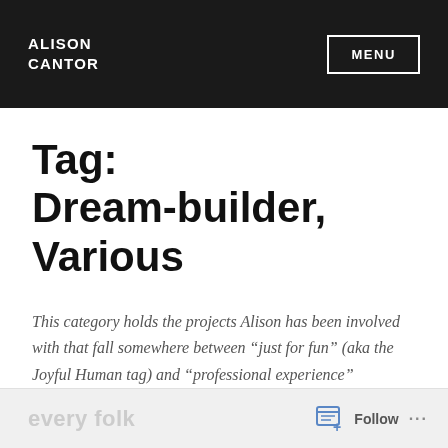ALISON CANTOR | MENU
Tag: Dream-builder, Various
This category holds the projects Alison has been involved with that fall somewhere between “just for fun” (aka the Joyful Human tag) and “professional experience” categories.
Follow ...